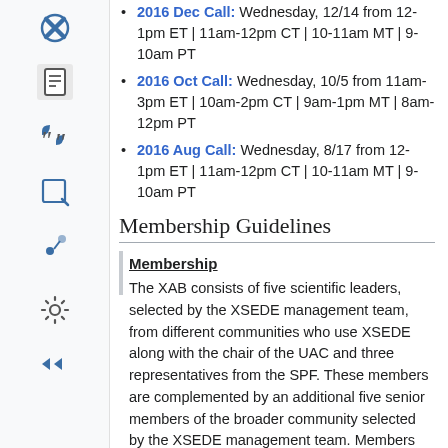2016 Dec Call: Wednesday, 12/14 from 12-1pm ET | 11am-12pm CT | 10-11am MT | 9-10am PT
2016 Oct Call: Wednesday, 10/5 from 11am-3pm ET | 10am-2pm CT | 9am-1pm MT | 8am-12pm PT
2016 Aug Call: Wednesday, 8/17 from 12-1pm ET | 11am-12pm CT | 10-11am MT | 9-10am PT
Membership Guidelines
Membership
The XAB consists of five scientific leaders, selected by the XSEDE management team, from different communities who use XSEDE along with the chair of the UAC and three representatives from the SPF. These members are complemented by an additional five senior members of the broader community selected by the XSEDE management team. Members are requested to serve a minimum of one, two-year staggered term.